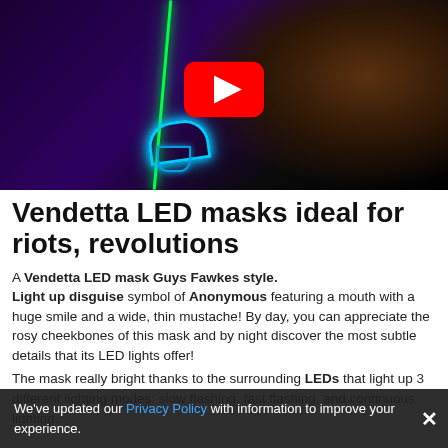[Figure (screenshot): YouTube video thumbnail showing a dark scene with neon green and blue LED lines against a dark purple/black background, with a YouTube play button overlay in the center.]
Vendetta LED masks ideal for riots, revolutions
A Vendetta LED mask Guys Fawkes style. Light up disguise symbol of Anonymous featuring a mouth with a huge smile and a wide, thin mustache! By day, you can appreciate the rosy cheekbones of this mask and by night discover the most subtle details that its LED lights offer!
The mask really bright thanks to the surrounding LEDs that light up 3 different lighting modes: slow flashing, fast flashing, and continuous lighting.
We've updated our Privacy Policy with information to improve your experience.